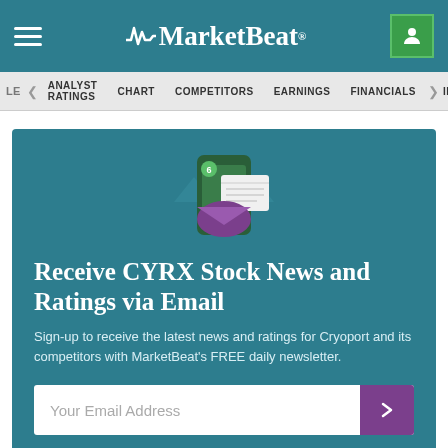MarketBeat
ANALYST RATINGS   CHART   COMPETITORS   EARNINGS   FINANCIALS
Receive CYRX Stock News and Ratings via Email
Sign-up to receive the latest news and ratings for Cryoport and its competitors with MarketBeat's FREE daily newsletter.
Your Email Address